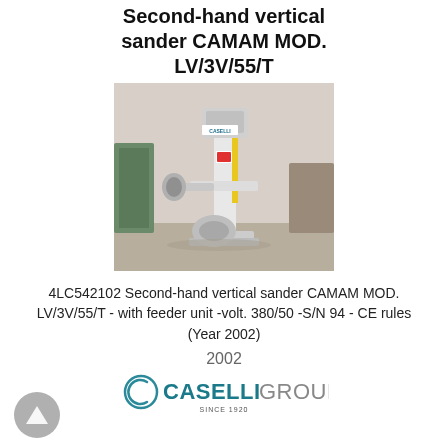Second-hand vertical sander CAMAM MOD. LV/3V/55/T
[Figure (photo): Photo of a second-hand vertical sander machine CAMAM MOD. LV/3V/55/T, white/yellow industrial machine with feeder unit, standing on a workshop floor.]
4LC542102 Second-hand vertical sander CAMAM MOD. LV/3V/55/T - with feeder unit -volt. 380/50 -S/N 94 - CE rules (Year 2002)
2002
[Figure (logo): Caselli Group logo - circular C symbol with CASELLI in bold teal and GROUP in grey, SINCE 1920 below.]